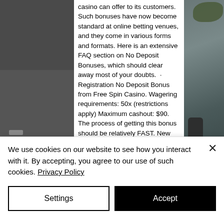casino can offer to its customers. Such bonuses have now become standard at online betting venues, and they come in various forms and formats. Here is an extensive FAQ section on No Deposit Bonuses, which should clear away most of your doubts.  · Registration No Deposit Bonus from Free Spin Casino. Wagering requirements: 50x (restrictions apply) Maximum cashout: $90. The process of getting this bonus should be relatively FAST. New players only Full Terms apply Bonus
[Figure (photo): Left dark grey/charcoal vertical bar panel, and right side showing a partial photo of what appears to be a car door handle with green foliage in the upper right corner.]
We use cookies on our website to see how you interact with it. By accepting, you agree to our use of such cookies. Privacy Policy